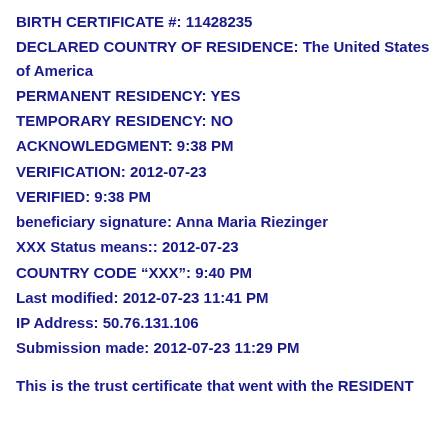BIRTH CERTIFICATE #: 11428235
DECLARED COUNTRY OF RESIDENCE: The United States of America
PERMANENT RESIDENCY: YES
TEMPORARY RESIDENCY: NO
ACKNOWLEDGMENT: 9:38 PM
VERIFICATION: 2012-07-23
VERIFIED: 9:38 PM
beneficiary signature: Anna Maria Riezinger
XXX Status means:: 2012-07-23
COUNTRY CODE “XXX”: 9:40 PM
Last modified: 2012-07-23 11:41 PM
IP Address: 50.76.131.106
Submission made: 2012-07-23 11:29 PM
This is the trust certificate that went with the RESIDENT